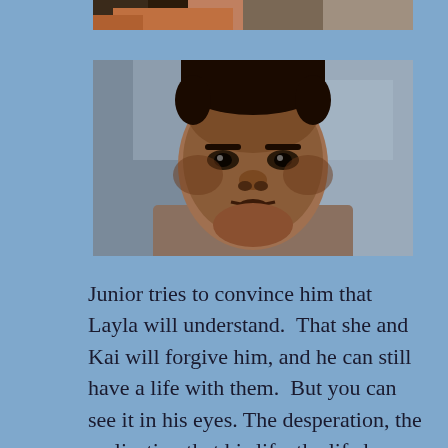[Figure (photo): Partial photo at top of page showing a person, cropped to show only bottom portion]
[Figure (photo): Close-up photo of a young man of Pacific Islander descent with a serious, emotional expression on a blue-grey background]
Junior tries to convince him that Layla will understand.  That she and Kai will forgive him, and he can still have a life with them.  But you can see it in his eyes. The desperation, the realization that his life, the life he wants is over.  J.J. was so incredible at that moment.